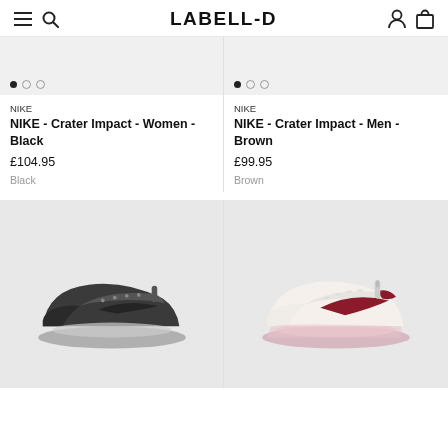LABELL-D
[Figure (photo): Top portion of product card for NIKE Crater Impact Women Black, showing product image area with carousel dots (cut off at top)]
[Figure (photo): Top portion of product card for NIKE Crater Impact Men Brown, showing product image area with carousel dots (cut off at top)]
NIKE
NIKE - Crater Impact - Women - Black
£104.95
Black
NIKE
NIKE - Crater Impact - Men - Brown
£99.95
Brown
[Figure (photo): Dark grey/black Nike sneaker (Air Max 90 Crater) shown on light grey background, side profile facing right]
[Figure (photo): White/cream Nike sneaker with red Swoosh and pink accents (Air Max Terrascape 90), shown on light grey background, side profile facing right]